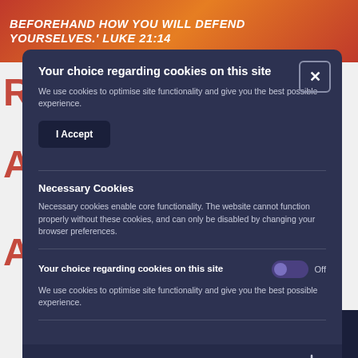[Figure (screenshot): Orange-red banner with italic bold white text: 'BEFOREHAND HOW YOU WILL DEFEND YOURSELVES.' LUKE 21:14]
Your choice regarding cookies on this site
We use cookies to optimise site functionality and give you the best possible experience.
I Accept
Necessary Cookies
Necessary cookies enable core functionality. The website cannot function properly without these cookies, and can only be disabled by changing your browser preferences.
Your choice regarding cookies on this site
We use cookies to optimise site functionality and give you the best possible experience.
About this tool